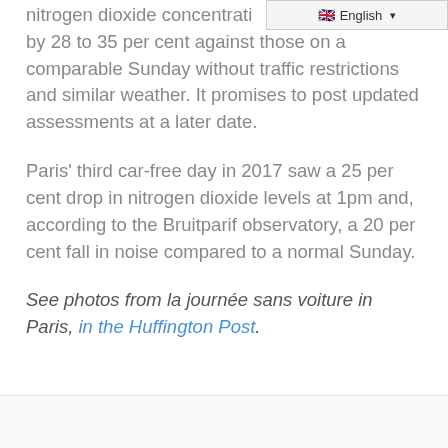English
by 28 to 35 per cent against those on a comparable Sunday without traffic restrictions and similar weather. It promises to post updated assessments at a later date.
Paris' third car-free day in 2017 saw a 25 per cent drop in nitrogen dioxide levels at 1pm and, according to the Bruitparif observatory, a 20 per cent fall in noise compared to a normal Sunday.
See photos from la journée sans voiture in Paris, in the Huffington Post.